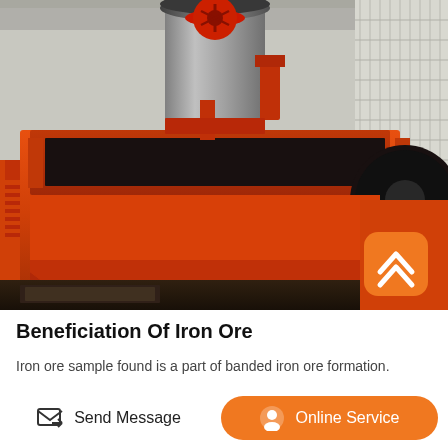[Figure (photo): Large orange industrial iron ore beneficiation machine/equipment in a warehouse or factory setting. The machine is predominantly painted bright orange/red, with a large cylindrical structure with a red wheel on top. The machine appears to be a flotation cell or mineral processing equipment.]
Beneficiation Of Iron Ore
Iron ore sample found is a part of banded iron ore formation.
Send Message   Online Service